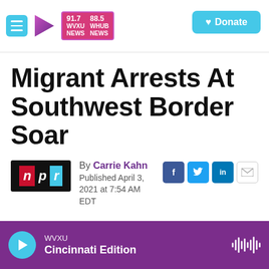WVXU 91.7 NEWS | WHUB 88.5 NEWS | Donate
Migrant Arrests At Southwest Border Soar
By Carrie Kahn
Published April 3, 2021 at 7:54 AM EDT
LISTEN • 3:43
WVXU Cincinnati Edition